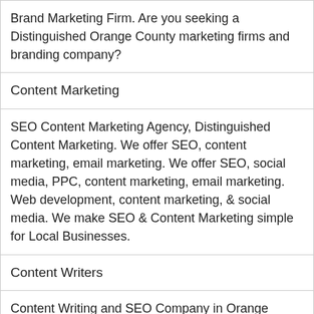Brand Marketing Firm. Are you seeking a Distinguished Orange County marketing firms and branding company?
Content Marketing
SEO Content Marketing Agency, Distinguished Content Marketing. We offer SEO, content marketing, email marketing. We offer SEO, social media, PPC, content marketing, email marketing. Web development, content marketing, & social media. We make SEO & Content Marketing simple for Local Businesses.
Content Writers
Content Writing and SEO Company in Orange County. OC SEO Introduces Research-Based